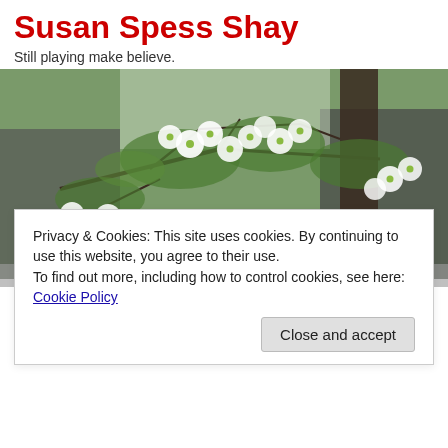Susan Spess Shay
Still playing make believe.
[Figure (photo): Header photo of a dogwood tree with white blossoms against a building and dark tree trunk background]
DAILY ARCHIVES: FEBRUARY 16, 2012
Privacy & Cookies: This site uses cookies. By continuing to use this website, you agree to their use.
To find out more, including how to control cookies, see here: Cookie Policy